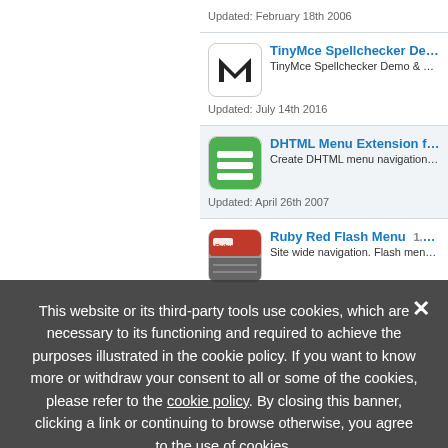Updated: February 18th 2006
TinyMce Spellchecker Demo  f23
TinyMce Spellchecker Demo & Examples
Updated: July 14th 2016
DHTML Menu Extension for GoL...
Create DHTML menu navigation in GoLiv...
Updated: April 26th 2007
Ruby Red Flash Menu  1.0.0  Free
Site wide navigation. Flash menu. Impres...
Updated: December 27th 2006
This website or its third-party tools use cookies, which are necessary to its functioning and required to achieve the purposes illustrated in the cookie policy. If you want to know more or withdraw your consent to all or some of the cookies, please refer to the cookie policy. By closing this banner, clicking a link or continuing to browse otherwise, you agree to the use of cookies.